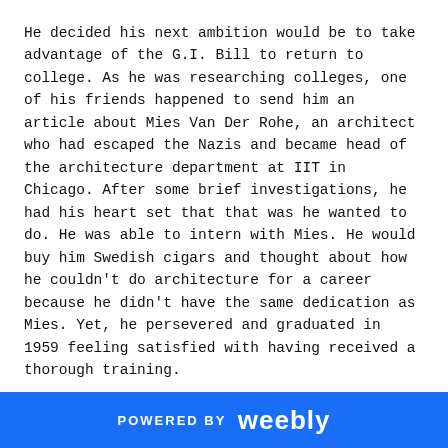He decided his next ambition would be to take advantage of the G.I. Bill to return to college. As he was researching colleges, one of his friends happened to send him an article about Mies Van Der Rohe, an architect who had escaped the Nazis and became head of the architecture department at IIT in Chicago. After some brief investigations, he had his heart set that that was he wanted to do. He was able to intern with Mies. He would buy him Swedish cigars and thought about how he couldn't do architecture for a career because he didn't have the same dedication as Mies. Yet, he persevered and graduated in 1959 feeling satisfied with having received a thorough training.
That summer, the sweltering Chicago heat began to get to him and he decided it was time to move on. He opened up a map to see what city he wanted to try living in next. Between Houston and San Francisco, he chose San Francisco. Without knowing anybody there, he packed all of his belongings into a jellopy and began the trek west.
Despite the Eisenhower depression, he was able to find a job on the third day, marking the beginning of his career in architecture. He says that he was
POWERED BY weebly